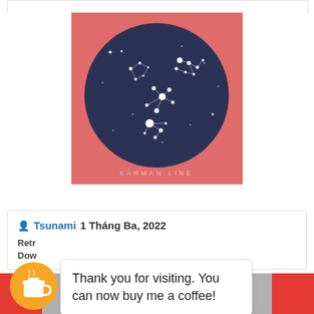[Figure (illustration): Album art for 'Karman Line' — a square image with salmon/coral pink background featuring a large dark navy blue circle containing a star constellation map with white dots and connecting lines. Text 'KARMAN LINE' appears at the bottom of the image in spaced capital letters.]
Tsunami   1 Tháng Ba, 2022
Retr
Dow
Thank you for visiting. You can now buy me a coffee!
[Figure (illustration): Buy me a coffee circular orange badge with a coffee cup icon]
[Figure (photo): Bottom strip showing a partial grayscale photo with red accents on sides, showing what appears to be hands or figures]